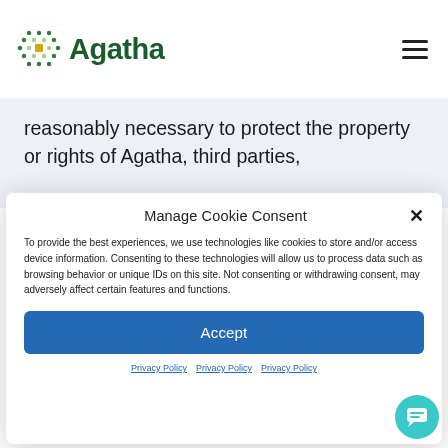[Figure (logo): Agatha company logo with green dot pattern icon and green sans-serif wordmark]
reasonably necessary to protect the property or rights of Agatha, third parties,
Manage Cookie Consent
To provide the best experiences, we use technologies like cookies to store and/or access device information. Consenting to these technologies will allow us to process data such as browsing behavior or unique IDs on this site. Not consenting or withdrawing consent, may adversely affect certain features and functions.
Accept
Privacy Policy  Privacy Policy  Privacy Policy